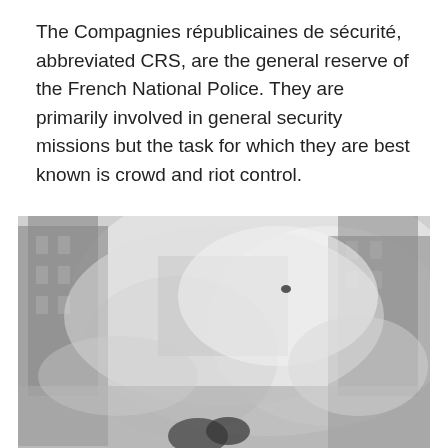The Compagnies républicaines de sécurité, abbreviated CRS, are the general reserve of the French National Police. They are primarily involved in general security missions but the task for which they are best known is crowd and riot control.
[Figure (photo): A black and white photograph showing a foggy or smoky street scene, likely depicting a riot control situation. The image is hazy with silhouettes of buildings and figures visible through the smoke or fog.]